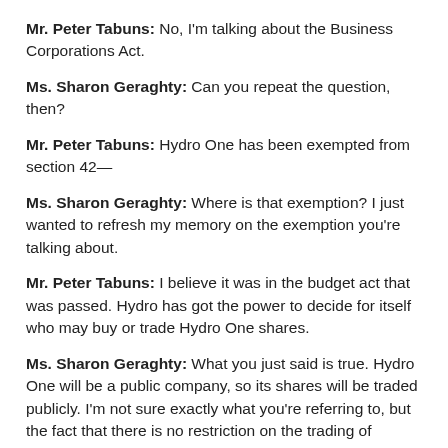Mr. Peter Tabuns: No, I'm talking about the Business Corporations Act.
Ms. Sharon Geraghty: Can you repeat the question, then?
Mr. Peter Tabuns: Hydro One has been exempted from section 42—
Ms. Sharon Geraghty: Where is that exemption? I just wanted to refresh my memory on the exemption you're talking about.
Mr. Peter Tabuns: I believe it was in the budget act that was passed. Hydro has got the power to decide for itself who may buy or trade Hydro One shares.
Ms. Sharon Geraghty: What you just said is true. Hydro One will be a public company, so its shares will be traded publicly. I'm not sure exactly what you're referring to, but the fact that there is no restriction on the trading of shares, other than the restrictions that the deputy mentioned—